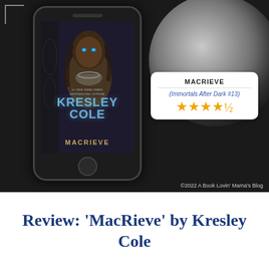[Figure (photo): Dark-themed social media book review graphic showing a smartphone displaying the book cover of 'MacRieve' by Kresley Cole against a dark background with a moon. An info card overlay shows the title 'MACRIEVE', subtitle '(Immortals After Dark #13)', and 4.5 star rating. Copyright text reads '©2022 A Book Lovin' Mama's Blog'.]
Review: 'MacRieve' by Kresley Cole